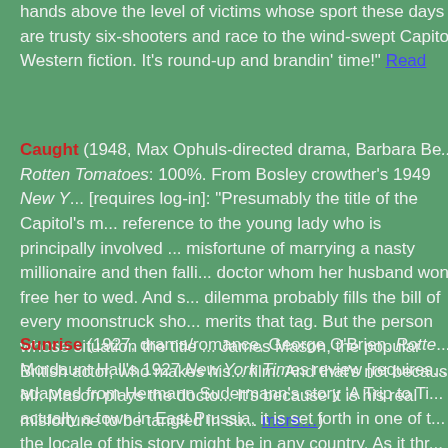hands above the level of victims whose sport these days are trusty six-shooters and race to the wind-swept Capitol. Western fiction. It's round-up and brandin' time!" Read
Caught (1948, Max Ophuls-directed drama, Barbara Be... Rotten Tomatoes: 100%. From Bosley crowther's 1949 New Y... [requires log-in]: "Presumably the title of the Capitol's m... reference to the young lady who is principally involved ... misfortune of marrying a nasty millionaire and then falli... doctor whom her husband won't free her to wed. And s... dilemma probably fills the bill of every moonstruck sho... merits that tag. But the person whose situation the title ... James Mason, the popular British actor, who makes his... film. And that's not because Mr. Mason plays the docto... It's because it is his real misfortune to be tangled in su... more...)
Sunrise (1927, drama/romance, George O'Brien. Rotte... Mordaunt Hall's 1927 New York Times review [requires... adapted from Hermann Sudermann's story 'A Trip to Ti... actually a town in East Prussia, it is set forth in one of t... the locale of this story might be in any country. As it thr... person this narrative gathers im...tness is fille...